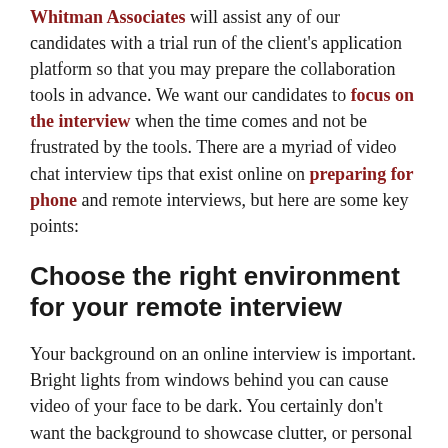Whitman Associates will assist any of our candidates with a trial run of the client's application platform so that you may prepare the collaboration tools in advance. We want our candidates to focus on the interview when the time comes and not be frustrated by the tools. There are a myriad of video chat interview tips that exist online on preparing for phone and remote interviews, but here are some key points:
Choose the right environment for your remote interview
Your background on an online interview is important. Bright lights from windows behind you can cause video of your face to be dark. You certainly don't want the background to showcase clutter, or personal spaces such as your bed or bathroom. It is best to sit in